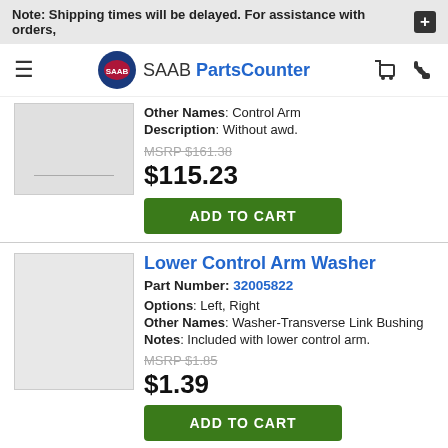Note: Shipping times will be delayed. For assistance with orders,
[Figure (logo): SAAB PartsCounter logo with blue circular emblem]
Other Names: Control Arm
Description: Without awd.
MSRP $161.38
$115.23
ADD TO CART
Lower Control Arm Washer
Part Number: 32005822
Options: Left, Right
Other Names: Washer-Transverse Link Bushing
Notes: Included with lower control arm.
MSRP $1.85
$1.39
ADD TO CART